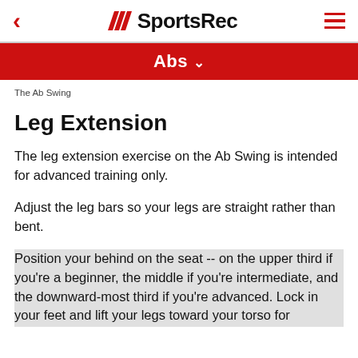SportsRec
Abs
The Ab Swing
Leg Extension
The leg extension exercise on the Ab Swing is intended for advanced training only.
Adjust the leg bars so your legs are straight rather than bent.
Position your behind on the seat -- on the upper third if you're a beginner, the middle if you're intermediate, and the downward-most third if you're advanced. Lock in your feet and lift your legs toward your torso for